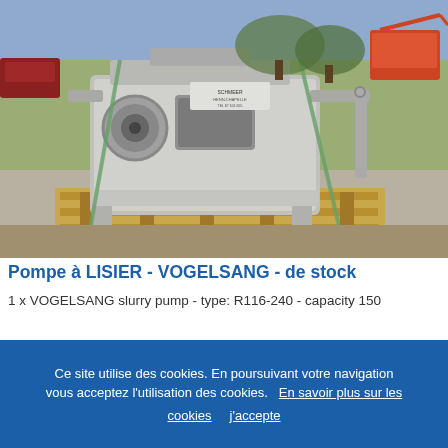[Figure (photo): Photograph of a VOGELSANG slurry pump (R116-240), a large metallic industrial pump with angular casing and multiple cylindrical openings, secured with green straps on a wooden pallet. Background shows outdoor setting with trees and farm equipment.]
Pompe à LISIER - VOGELSANG - de stock
1 x VOGELSANG slurry pump - type: R116-240 - capacity 150
Ce site utilise des cookies. En poursuivant votre navigation vous acceptez l'utilisation des cookies.   En savoir plus sur les cookies   J'accepte